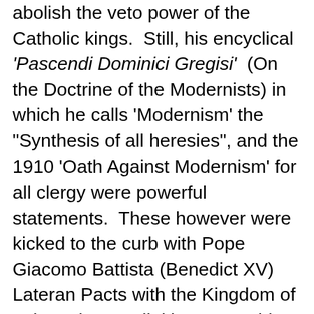abolish the veto power of the Catholic kings.  Still, his encyclical 'Pascendi Dominici Gregisi'  (On the Doctrine of the Modernists) in which he calls 'Modernism' the "Synthesis of all heresies", and the 1910 'Oath Against Modernism' for all clergy were powerful statements.  These however were kicked to the curb with Pope Giacomo Battista (Benedict XV) Lateran Pacts with the Kingdom of Italy and Mussolini in 1929.  This established Vatican City as a sovereign state in the Modern world.  Even more damning was the 1933 Concordat with the Third Reich, signed by Secretary of State Secretary of State Eugenio Pacelli (Pope Pius XII 1939-1958).  Although the Reichskonkordat was in no way an endorsement of Nazi religious it...